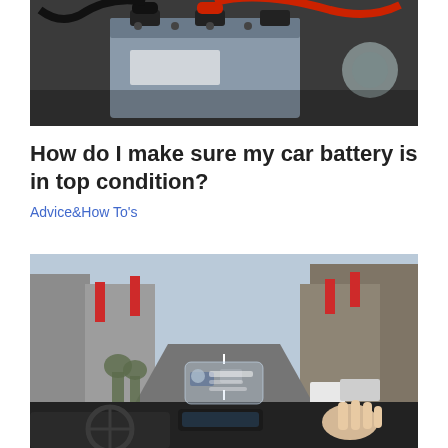[Figure (photo): Close-up photo of a car battery with cables in an engine bay, red and black terminals visible]
How do I make sure my car battery is in top condition?
Advice&How To's
[Figure (photo): Interior car dashboard view showing a heads-up display projection onto the windshield with a city street visible ahead, a hand raised near the display device on the dashboard]